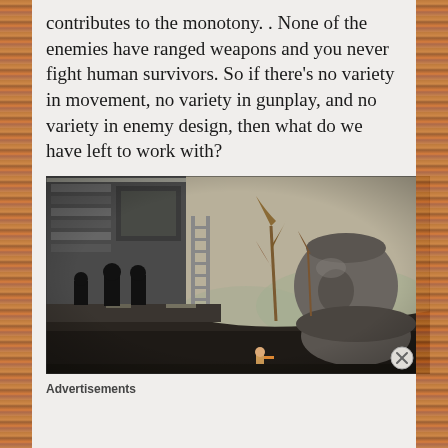contributes to the monotony. . None of the enemies have ranged weapons and you never fight human survivors. So if there's no variety in movement, no variety in gunplay, and no variety in enemy design, then what do we have left to work with?
[Figure (screenshot): A pixel art / 2.5D game screenshot showing dark zombie-like silhouette enemies on a platform level with a large stone statue head in the background and an olive/beige sky.]
Advertisements